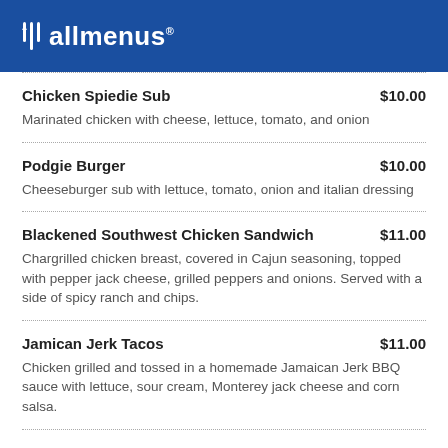allmenus
Chicken Spiedie Sub $10.00 — Marinated chicken with cheese, lettuce, tomato, and onion
Podgie Burger $10.00 — Cheeseburger sub with lettuce, tomato, onion and italian dressing
Blackened Southwest Chicken Sandwich $11.00 — Chargrilled chicken breast, covered in Cajun seasoning, topped with pepper jack cheese, grilled peppers and onions. Served with a side of spicy ranch and chips.
Jamican Jerk Tacos $11.00 — Chicken grilled and tossed in a homemade Jamaican Jerk BBQ sauce with lettuce, sour cream, Monterey jack cheese and corn salsa.